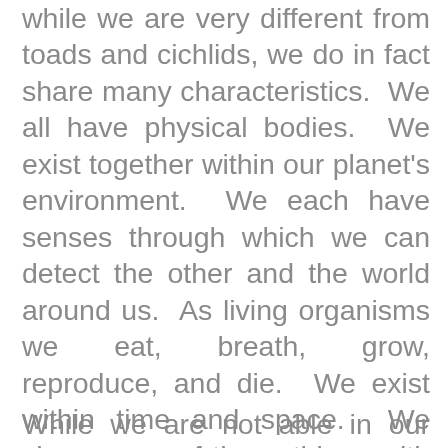while we are very different from toads and cichlids, we do in fact share many characteristics. We all have physical bodies. We exist together within our planet's environment. We each have senses through which we can detect the other and the world around us. As living organisms we eat, breath, grow, reproduce, and die. We exist within time and space. We share none of these things with God. God does not have a physical body, is not a part of our environment, has no senses, does not eat, breath, grow, reproduce, or die. God is wholly other from us, yet desires to be in relationship with us.
While we are not able in our humanity to